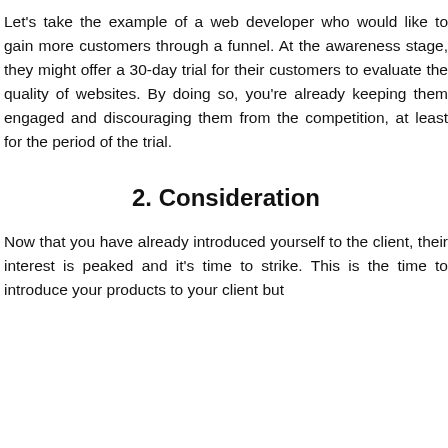Let's take the example of a web developer who would like to gain more customers through a funnel. At the awareness stage, they might offer a 30-day trial for their customers to evaluate the quality of websites. By doing so, you're already keeping them engaged and discouraging them from the competition, at least for the period of the trial.
2. Consideration
Now that you have already introduced yourself to the client, their interest is peaked and it's time to strike. This is the time to introduce your products to your client but